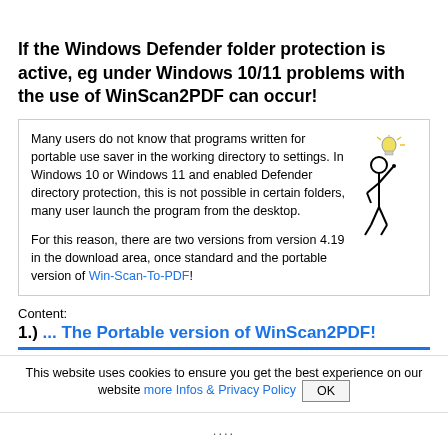If the Windows Defender folder protection is active, eg under Windows 10/11 problems with the use of WinScan2PDF can occur!
Many users do not know that programs written for portable use saver in the working directory to settings. In Windows 10 or Windows 11 and enabled Defender directory protection, this is not possible in certain folders, many user launch the program from the desktop.

For this reason, there are two versions from version 4.19 in the download area, once standard and the portable version of Win-Scan-To-PDF!
[Figure (illustration): Stick figure with a lightbulb above its head, raising one finger, with hand on hip]
Content:
1.) ... The Portable version of WinScan2PDF!
This website uses cookies to ensure you get the best experience on our website more Infos & Privacy Policy OK
....